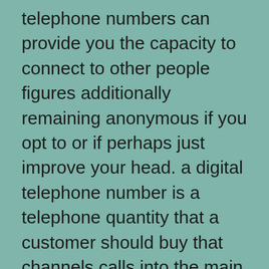telephone numbers can provide you the capacity to connect to other people figures additionally remaining anonymous if you opt to or if perhaps just improve your head. a digital telephone number is a telephone quantity that a customer should buy that channels calls into the main dating wide range of their choosing. This is certainly a good solution for worldwide circumstances, regardless if you are learning abroad or phone an internet phone in a single location. Making use of digital cell phone numbers for internet dating safety is a good choice in exactly exactly just how among these